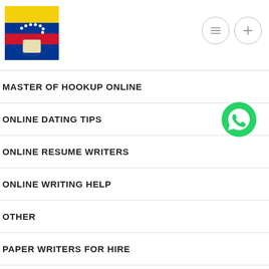Navigation header with logo and menu icons
MASTER OF HOOKUP ONLINE
ONLINE DATING TIPS
ONLINE RESUME WRITERS
ONLINE WRITING HELP
OTHER
PAPER WRITERS FOR HIRE
PAPER WRITING TIPS
PAY FOR ESSAY